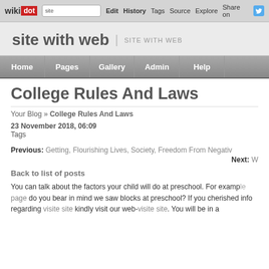wikidot | site | Edit | History | Tags | Source | Explore | Share on [twitter]
site with web | SITE WITH WEB
Home | Pages | Gallery | Admin | Help
College Rules And Laws
Your Blog » College Rules And Laws
23 November 2018, 06:09
Tags
Previous: Getting, Flourishing Lives, Society, Freedom From Negativ...
Next: W...
Back to list of posts
You can talk about the factors your child will do at preschool. For example page do you bear in mind we saw blocks at preschool? If you cherished info regarding visite site kindly visit our web-visite site. You will be in a